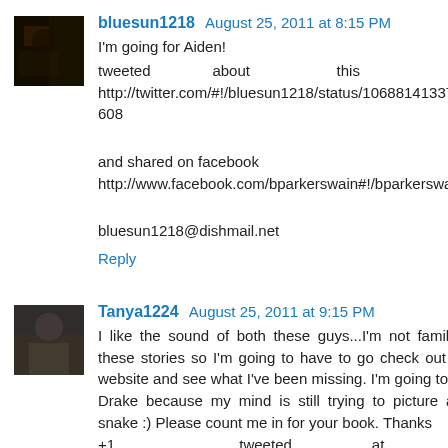[Figure (photo): Avatar thumbnail for bluesun1218 - dark colored profile picture]
bluesun1218 August 25, 2011 at 8:15 PM
I'm going for Aiden!
tweeted about this here- http://twitter.com/#!/bluesun1218/status/106881413374148608

and shared on facebook
http://www.facebook.com/bparkerswain#!/bparkerswain

bluesun1218@dishmail.net
Reply
[Figure (photo): Avatar thumbnail for Tanya1224 - dark colored profile picture with person sitting]
Tanya1224 August 25, 2011 at 9:15 PM
I like the sound of both these guys...I'm not familiar with these stories so I'm going to have to go check out Stella's website and see what I've been missing. I'm going to go with Drake because my mind is still trying to picture a were-snake :) Please count me in for your book. Thanks
+1 tweeted at http://twitter.com/#!/Tanya1224/status/106890684978021580